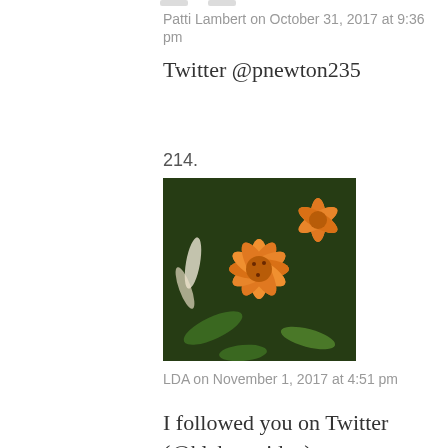Patti Lambert on October 31, 2017 at 9:36 pm
Twitter @pnewton235
214.
[Figure (photo): Avatar image showing orange lily flowers close-up]
LDA on November 1, 2017 at 4:51 pm
I followed you on Twitter (@klahaneridge). Great giveaway, thanks!
215.
[Figure (photo): Avatar image showing a young couple, man with glasses and dark-haired woman]